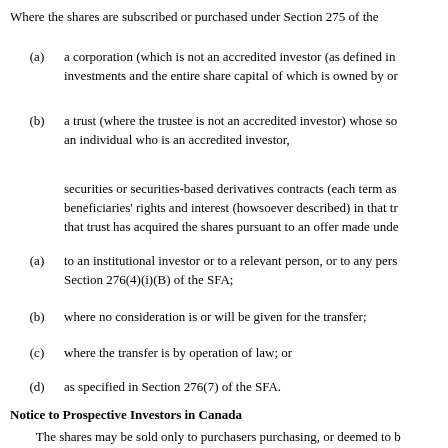Where the shares are subscribed or purchased under Section 275 of the
(a) a corporation (which is not an accredited investor (as defined in investments and the entire share capital of which is owned by or
(b) a trust (where the trustee is not an accredited investor) whose so an individual who is an accredited investor,
securities or securities-based derivatives contracts (each term as beneficiaries' rights and interest (howsoever described) in that tr that trust has acquired the shares pursuant to an offer made unde
(a) to an institutional investor or to a relevant person, or to any pers Section 276(4)(i)(B) of the SFA;
(b) where no consideration is or will be given for the transfer;
(c) where the transfer is by operation of law; or
(d) as specified in Section 276(7) of the SFA.
Notice to Prospective Investors in Canada
The shares may be sold only to purchasers purchasing, or deemed to b National Instrument 45-106 Prospectus Exemptions or subsection 73.3(1) of